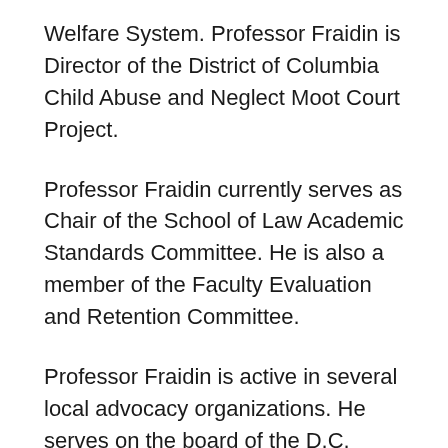Welfare System. Professor Fraidin is Director of the District of Columbia Child Abuse and Neglect Moot Court Project.
Professor Fraidin currently serves as Chair of the School of Law Academic Standards Committee. He is also a member of the Faculty Evaluation and Retention Committee.
Professor Fraidin is active in several local advocacy organizations. He serves on the board of the D.C. Affordable Law Firm. He is also a member of the Steering Committee of the American Bar Association Center on Children and the Law National Project to Improve Representation of Parents Involved in the